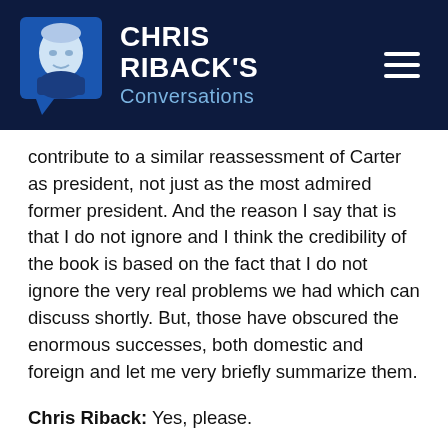[Figure (logo): Chris Riback's Conversations logo: dark navy header bar with a blue speech-bubble icon containing a man's portrait illustration, text 'CHRIS RIBACK'S Conversations', and a hamburger menu icon on the right]
contribute to a similar reassessment of Carter as president, not just as the most admired former president. And the reason I say that is that I do not ignore and I think the credibility of the book is based on the fact that I do not ignore the very real problems we had which can discuss shortly. But, those have obscured the enormous successes, both domestic and foreign and let me very briefly summarize them.
Chris Riback: Yes, please.